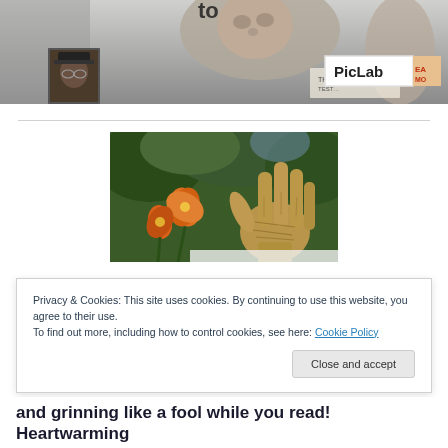[Figure (photo): Header banner image showing a collage with a baby photo, a person with glasses and a hat, text 'to' visible, and a PicLab badge in the lower right corner of the image.]
[Figure (photo): Photo of a muddy hand raised up in front of orange day lilies and green foliage background.]
Privacy & Cookies: This site uses cookies. By continuing to use this website, you agree to their use.
To find out more, including how to control cookies, see here: Cookie Policy
Close and accept
and grinning like a fool while you read! Heartwarming